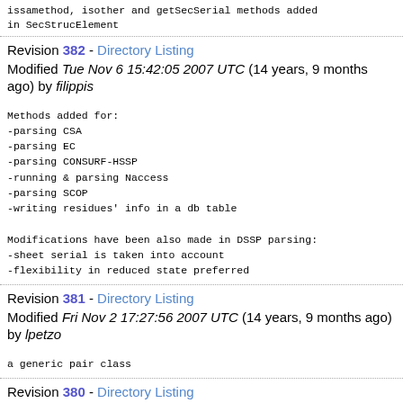issamethod, isother and getSecSerial methods added in SecStrucElement
Revision 382 - Directory Listing
Modified Tue Nov 6 15:42:05 2007 UTC (14 years, 9 months ago) by filippis
Methods added for:
-parsing CSA
-parsing EC
-parsing CONSURF-HSSP
-running & parsing Naccess
-parsing SCOP
-writing residues' info in a db table

Modifications have been also made in DSSP parsing:
-sheet serial is taken into account
-flexibility in reduced state preferred
Revision 381 - Directory Listing
Modified Fri Nov 2 17:27:56 2007 UTC (14 years, 9 months ago) by lpetzo
a generic pair class
Revision 380 - Directory Listing
Modified Fri Nov 2 17:26:43 2007 UTC (14 years, 9 months ago) by lpetzo